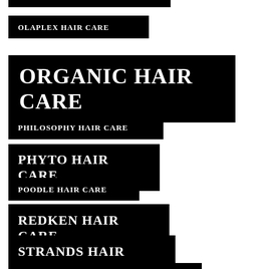OLAPLEX HAIR CARE
ORGANIC HAIR CARE
PHILOSOPHY HAIR CARE
PHYTO HAIR CARE
POODLE HAIR CARE
REDKEN HAIR CARE
STRANDS HAIR CARE